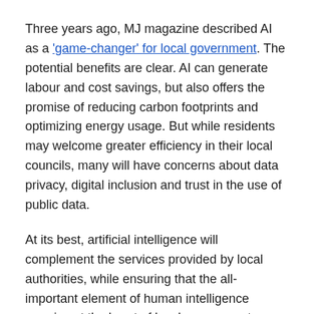Three years ago, MJ magazine described AI as a 'game-changer' for local government. The potential benefits are clear. AI can generate labour and cost savings, but also offers the promise of reducing carbon footprints and optimizing energy usage. But while residents may welcome greater efficiency in their local councils, many will have concerns about data privacy, digital inclusion and trust in the use of public data.
At its best, artificial intelligence will complement the services provided by local authorities, while ensuring that the all-important element of human intelligence remains at the heart of local government.
Further reading: more on digital from The Knowledge Exchange blog...